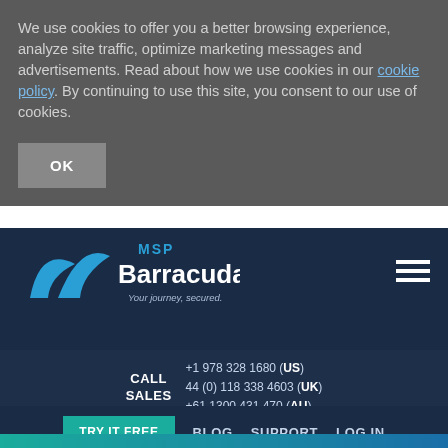We use cookies to offer you a better browsing experience, analyze site traffic, optimize marketing messages and advertisements. Read about how we use cookies in our cookie policy. By continuing to use this site, you consent to our use of cookies.
OK
[Figure (logo): Barracuda MSP logo with blue shark fin icons, 'MSP' in blue, 'Barracuda.' in white bold, tagline 'Your journey, secured.' in light italic]
CALL SALES +1 978 328 1680 (US) 44 (0) 118 338 4603 (UK) +61 1300 431 470 (AU)
TRY IT FREE   BLOG   SUPPORT   LOG IN